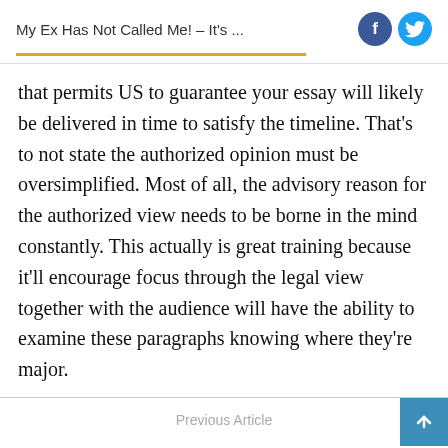My Ex Has Not Called Me! – It's ...
that permits US to guarantee your essay will likely be delivered in time to satisfy the timeline. That's to not state the authorized opinion must be oversimplified. Most of all, the advisory reason for the authorized view needs to be borne in the mind constantly. This actually is great training because it'll encourage focus through the legal view together with the audience will have the ability to examine these paragraphs knowing where they're major.
Previous Article